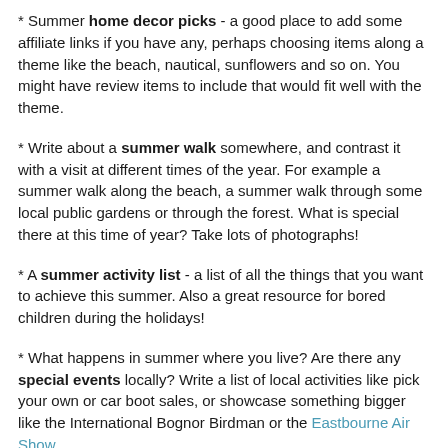* Summer home decor picks - a good place to add some affiliate links if you have any, perhaps choosing items along a theme like the beach, nautical, sunflowers and so on. You might have review items to include that would fit well with the theme.
* Write about a summer walk somewhere, and contrast it with a visit at different times of the year. For example a summer walk along the beach, a summer walk through some local public gardens or through the forest. What is special there at this time of year? Take lots of photographs!
* A summer activity list - a list of all the things that you want to achieve this summer. Also a great resource for bored children during the holidays!
* What happens in summer where you live? Are there any special events locally? Write a list of local activities like pick your own or car boot sales, or showcase something bigger like the International Bognor Birdman or the Eastbourne Air Show.